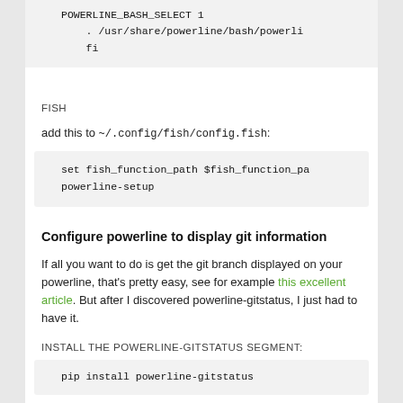POWERLINE_BASH_SELECT 1
    . /usr/share/powerline/bash/powerli...
fi
FISH
add this to ~/.config/fish/config.fish:
set fish_function_path $fish_function_pa...
powerline-setup
Configure powerline to display git information
If all you want to do is get the git branch displayed on your powerline, that's pretty easy, see for example this excellent article. But after I discovered powerline-gitstatus, I just had to have it.
INSTALL THE POWERLINE-GITSTATUS SEGMENT:
pip install powerline-gitstatus